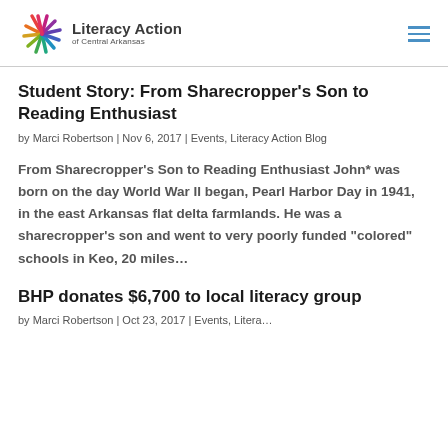Literacy Action of Central Arkansas
Student Story: From Sharecropper’s Son to Reading Enthusiast
by Marci Robertson | Nov 6, 2017 | Events, Literacy Action Blog
From Sharecropper’s Son to Reading Enthusiast John* was born on the day World War II began, Pearl Harbor Day in 1941, in the east Arkansas flat delta farmlands. He was a sharecropper’s son and went to very poorly funded “colored” schools in Keo, 20 miles…
BHP donates $6,700 to local literacy group
by Marci Robertson | Oct 23, 2017 | Events, Litera…